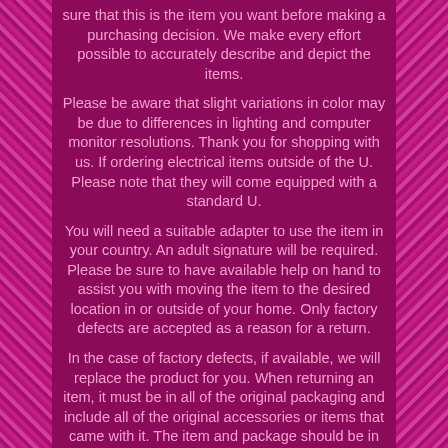sure that this is the item you want before making a purchasing decision. We make every effort possible to accurately describe and depict the items.
Please be aware that slight variations in color may be due to differences in lighting and computer monitor resolutions. Thank you for shopping with us. If ordering electrical items outside of the U. Please note that they will come equipped with a standard U.
You will need a suitable adapter to use the item in your country. An adult signature will be required. Please be sure to have available help on hand to assist you with moving the item to the desired location in or outside of your home. Only factory defects are accepted as a reason for a return.
In the case of factory defects, if available, we will replace the product for you. When returning an item, it must be in all of the original packaging and include all of the original accessories or items that came with it. The item and package should be in original and perfect condition. We do our best to process as quickly as possible.